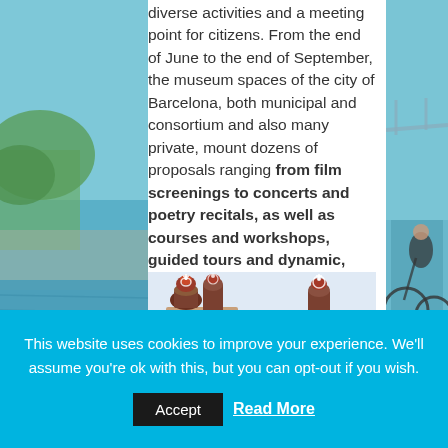diverse activities and a meeting point for citizens. From the end of June to the end of September, the museum spaces of the city of Barcelona, both municipal and consortium and also many private, mount dozens of proposals ranging from film screenings to concerts and poetry recitals, as well as courses and workshops, guided tours and dynamic, open days, and even games of clues and trivia. There will be something for everyone and for all age groups.
[Figure (photo): Photo of Park Güell in Barcelona showing the iconic Gaudi-designed gingerbread houses with mosaic tile spires against a pale sky]
[Figure (photo): Partial background photo on the left showing a waterfront or riverside scene with blue water]
[Figure (photo): Partial background photo on the right showing a person with a bicycle]
This website uses cookies to improve your experience. We'll assume you're ok with this, but you can opt-out if you wish.